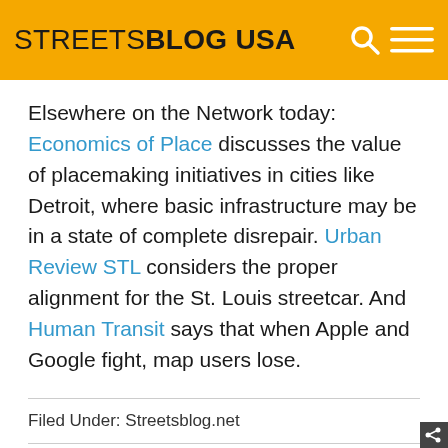STREETSBLOG USA
Elsewhere on the Network today: Economics of Place discusses the value of placemaking initiatives in cities like Detroit, where basic infrastructure may be in a state of complete disrepair. Urban Review STL considers the proper alignment for the St. Louis streetcar. And Human Transit says that when Apple and Google fight, map users lose.
Filed Under: Streetsblog.net